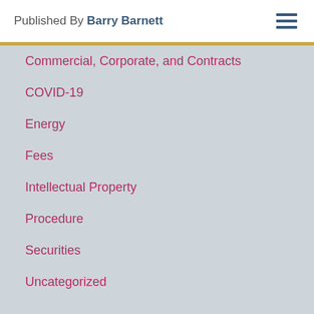Published By Barry Barnett
Commercial, Corporate, and Contracts
COVID-19
Energy
Fees
Intellectual Property
Procedure
Securities
Uncategorized